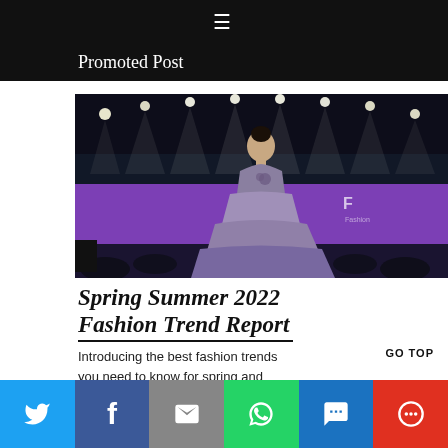≡
Promoted Post
[Figure (photo): Fashion model on runway wearing a layered grey/purple tulle ball gown, with stage lights overhead and a purple backdrop behind her.]
Spring Summer 2022 Fashion Trend Report
Introducing the best fashion trends you need to know for spring and
GO TOP